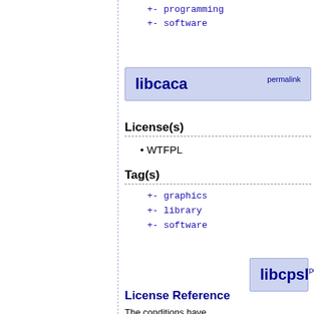+- programming
+- software
libcaca  permalink
License(s)
WTFPL
Tag(s)
+- graphics
+- library
+- software
libcpsl  permalink
License Reference
The conditions have...